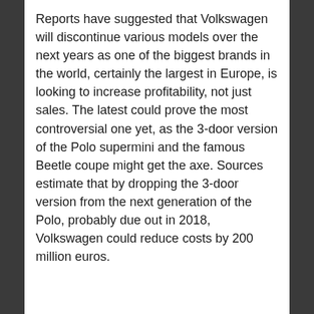Reports have suggested that Volkswagen will discontinue various models over the next years as one of the biggest brands in the world, certainly the largest in Europe, is looking to increase profitability, not just sales. The latest could prove the most controversial one yet, as the 3-door version of the Polo supermini and the famous Beetle coupe might get the axe. Sources estimate that by dropping the 3-door version from the next generation of the Polo, probably due out in 2018, Volkswagen could reduce costs by 200 million euros.